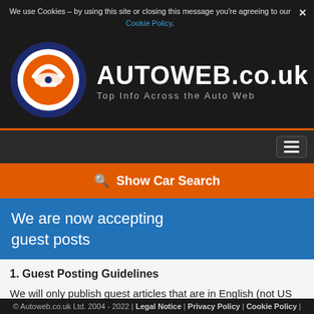We use Cookies – by using this site or closing this message you're agreeing to our Cookie Policy.
[Figure (logo): Autoweb.co.uk logo: orange car silhouette inside a blue ellipse with white ring]
AUTOWEB.co.uk
Top Info Across the Auto Web
Show Car Search
We are now accepting guest posts
1. Guest Posting Guidelines
We will only publish guest articles that are in English (not US h), written well and use correct grammar and
© Autoweb.co.uk Ltd. 2004 - 2022 | Legal Notice | Privacy Policy | Cookie Policy |